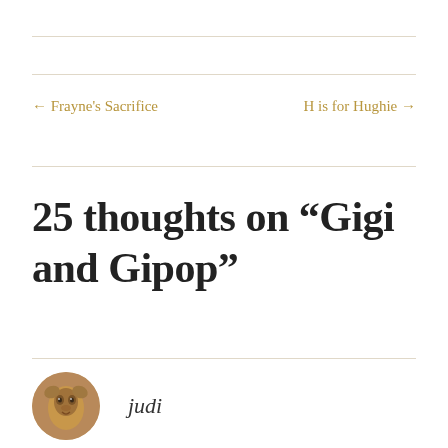← Frayne's Sacrifice
H is for Hughie →
25 thoughts on “Gigi and Gipop”
judi
[Figure (photo): Circular avatar photo of a person or animal with warm brown tones]